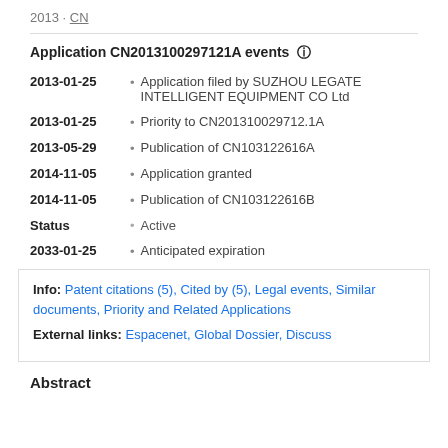2013 · CN
Application CN2013100297121A events ⓘ
2013-01-25 • Application filed by SUZHOU LEGATE INTELLIGENT EQUIPMENT CO Ltd
2013-01-25 • Priority to CN201310029712.1A
2013-05-29 • Publication of CN103122616A
2014-11-05 • Application granted
2014-11-05 • Publication of CN103122616B
Status • Active
2033-01-25 • Anticipated expiration
Info: Patent citations (5), Cited by (5), Legal events, Similar documents, Priority and Related Applications
External links: Espacenet, Global Dossier, Discuss
Abstract